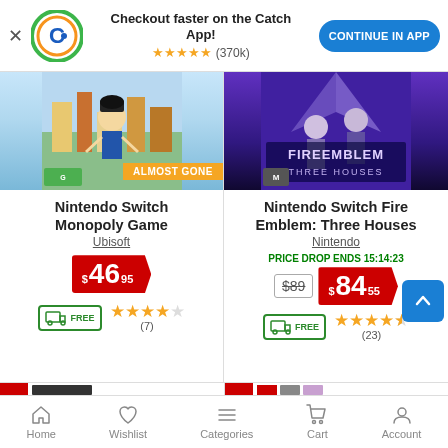[Figure (screenshot): Catch app promotional banner with logo, headline, star rating, and Continue In App button]
[Figure (photo): Nintendo Switch Monopoly game box art with ALMOST GONE badge]
Nintendo Switch Monopoly Game
Ubisoft
$46.95
FREE delivery, 4 stars, (7) reviews
[Figure (photo): Nintendo Switch Fire Emblem: Three Houses box art]
Nintendo Switch Fire Emblem: Three Houses
Nintendo
PRICE DROP ENDS 15:14:23
$89  $84.55
FREE delivery, 4.5 stars, (23) reviews
Home  Wishlist  Categories  Cart  Account